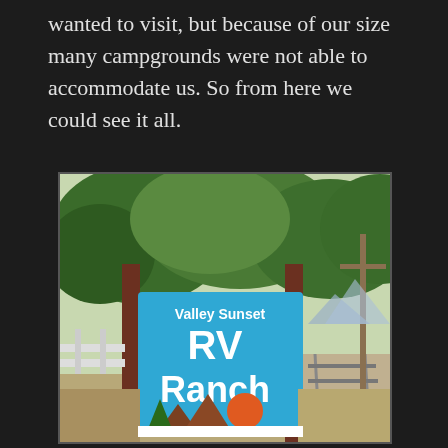wanted to visit, but because of our size many campgrounds were not able to accommodate us. So from here we could see it all.
[Figure (photo): Photograph of Valley Sunset RV Ranch sign — a large blue rectangular sign with white text reading 'Valley Sunset RV Ranch' with a logo showing green pine trees, a brown mountain, and an orange/red sun. The sign is framed by two dark wooden posts. Behind the sign are green leafy trees and a utility pole. Railroad tracks are visible to the right side.]